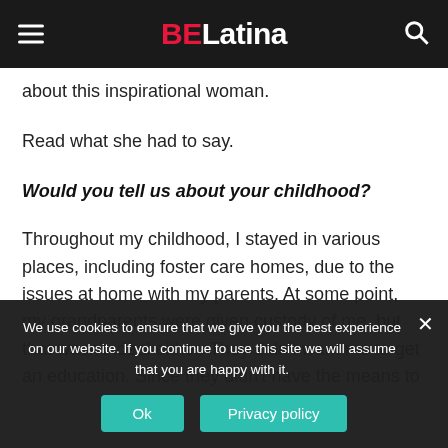BE Latina
about this inspirational woman.
Read what she had to say.
Would you tell us about your childhood?
Throughout my childhood, I stayed in various places, including foster care homes, due to the issues at home with my parents. At some point, my grandparents were given custody of me, but that wasn't ideal either. They didn't want me to get an education. Since they didn't have the means to
We use cookies to ensure that we give you the best experience on our website. If you continue to use this site we will assume that you are happy with it.